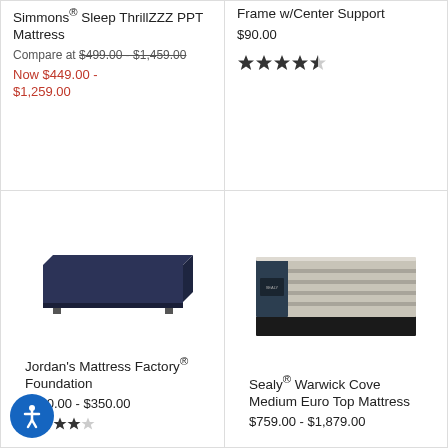Simmons® Sleep ThrillZZZ PPT Mattress Compare at $499.00 - $1,459.00 Now $449.00 - $1,259.00
Frame w/Center Support $90.00 ★★★★½
[Figure (photo): Dark navy/charcoal low-profile box spring foundation]
Jordan's Mattress Factory® Foundation $170.00 - $350.00
[Figure (photo): Sealy mattress with striped gray fabric and black base]
Sealy® Warwick Cove Medium Euro Top Mattress $759.00 - $1,879.00